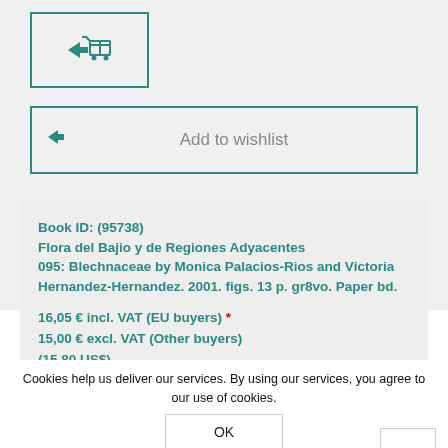[Figure (screenshot): Add to cart button with forward arrow and shopping cart icon, teal border]
[Figure (screenshot): Add to wishlist button with forward arrow icon and text, teal border]
Book ID: (95738)
Flora del Bajio y de Regiones Adyacentes
095: Blechnaceae by Monica Palacios-Rios and Victoria Hernandez-Hernandez. 2001. figs. 13 p. gr8vo. Paper bd.

16,05 € incl. VAT (EU buyers) *
15,00 € excl. VAT (Other buyers)
(15,80 US$)
Shipping extra
Cookies help us deliver our services. By using our services, you agree to our use of cookies.
OK
LEARN MORE